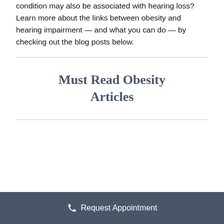condition may also be associated with hearing loss? Learn more about the links between obesity and hearing impairment — and what you can do — by checking out the blog posts below.
Must Read Obesity Articles
Request Appointment